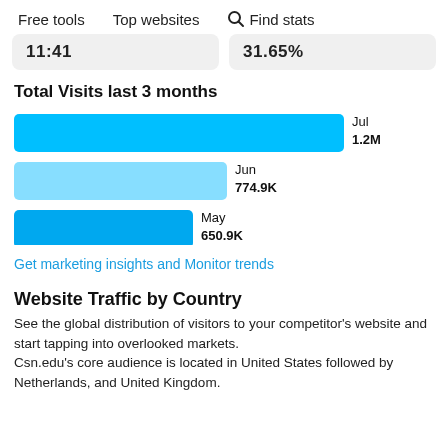Free tools   Top websites   🔍 Find stats
11:41   31.65%
Total Visits last 3 months
[Figure (bar-chart): Total Visits last 3 months]
Get marketing insights and Monitor trends
Website Traffic by Country
See the global distribution of visitors to your competitor's website and start tapping into overlooked markets. Csn.edu's core audience is located in United States followed by Netherlands, and United Kingdom.